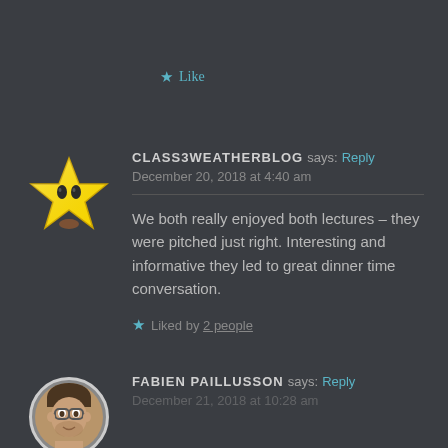★ Like
[Figure (photo): Star avatar icon (yellow Mario-style star with eyes) for user CLASS3WEATHERBLOG]
CLASS3WEATHERBLOG says: Reply
December 20, 2018 at 4:40 am
We both really enjoyed both lectures – they were pitched just right. Interesting and informative they led to great dinner time conversation.
★ Liked by 2 people
[Figure (photo): Circular profile photo of Fabien Paillusson, a man with glasses]
FABIEN PAILLUSSON says: Reply
December 21, 2018 at 10:28 am